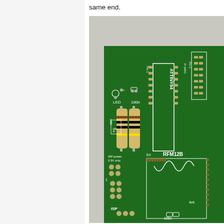same end.
[Figure (photo): Close-up photograph of a green PCB (printed circuit board) showing components including two resistors, LED area, ATTINY84 chip socket, RFM12B module area, ISP header, and various SMD pads and connectors. Labels visible on board include: LED, 100n, 198R, Pin 1, ATTINY84, Pi GPIO Pin 1, ISP power 3.3V only, En, RFM12B, ISP, Ant., 100n.]